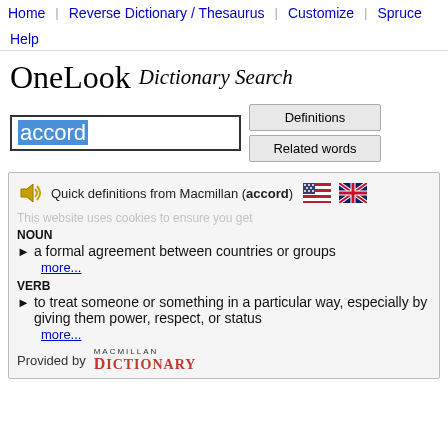Home  Reverse Dictionary / Thesaurus  Customize  Spruce  Help
[Figure (logo): OneLook Dictionary Search logo with serif font]
accord (search input field with Definitions and Related words buttons)
Quick definitions from Macmillan (accord)
This website uses cookies to ensure you get
NOUN
a formal agreement between countries or groups
more...
VERB
to treat someone or something in a particular way, especially by giving them power, respect, or status
more...
Provided by Macmillan Dictionary